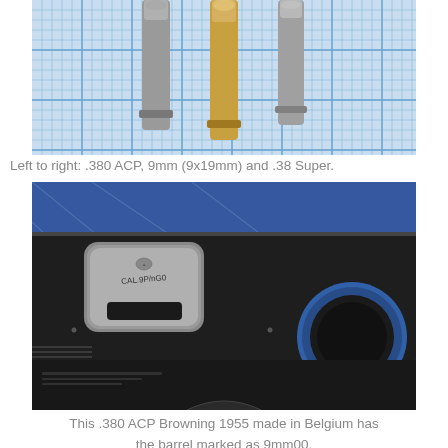[Figure (photo): Three cartridges (.380 ACP, 9mm/9x19mm, and .38 Super) standing upright on a blue graph/grid paper background, photographed from above at an angle.]
Left to right: .380 ACP, 9mm (9x19mm) and .38 Super.
[Figure (photo): Close-up photograph of a .380 ACP Browning 1955 pistol made in Belgium, showing the barrel chamber area marked as 9mm00, against a blue mat background.]
This .380 ACP Browning 1955 made in Belgium has the barrel marked as 9mm00.